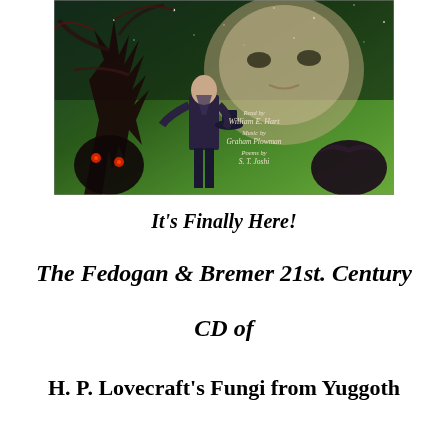[Figure (illustration): Book/CD cover art showing a man in a suit holding a hat, a large cosmic face in the starry sky, a twisted dark tree on the left, a dark creature with red eyes on the lower left, and a dark beast on the lower right. Text on the cover reads: 'Read by William E. Hart, Music by Graham Plowman, Poems by S.T. Joshi']
It’s Finally Here!
The Fedogan & Bremer 21st. Century CD of
H. P. Lovecraft’s Fungi from Yuggoth